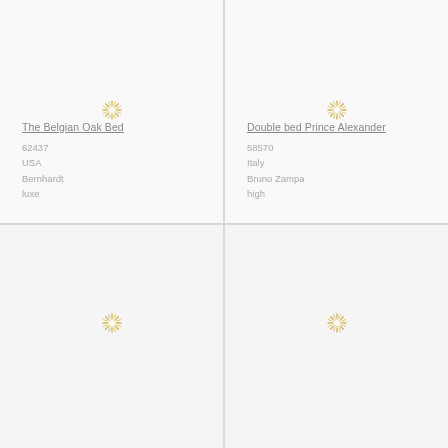[Figure (photo): Loading spinner icon (gold/white sunburst) centered in top-left product cell]
The Belgian Oak Bed
62437
USA
Bernhardt
luxe
[Figure (photo): Loading spinner icon (gold/white sunburst) centered in top-right product cell]
Double bed Prince Alexander
58570
Italy
Bruno Zampa
high
[Figure (photo): Loading spinner icon (gold/white sunburst) centered in bottom-left product cell]
[Figure (photo): Loading spinner icon (gold/white sunburst) centered in bottom-right product cell]